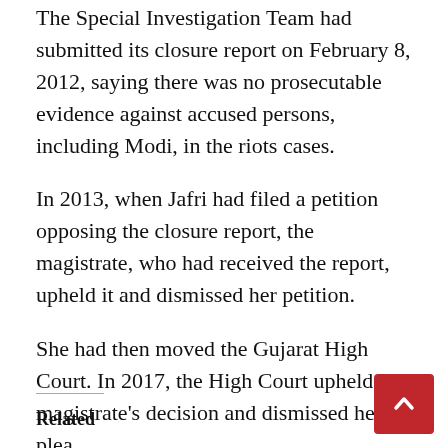The Special Investigation Team had submitted its closure report on February 8, 2012, saying there was no prosecutable evidence against accused persons, including Modi, in the riots cases.
In 2013, when Jafri had filed a petition opposing the closure report, the magistrate, who had received the report, upheld it and dismissed her petition.
She had then moved the Gujarat High Court. In 2017, the High Court upheld the magistrate’s decision and dismissed her plea.
Jafri then moved the Supreme Court that said it would examine the closure report.
Related